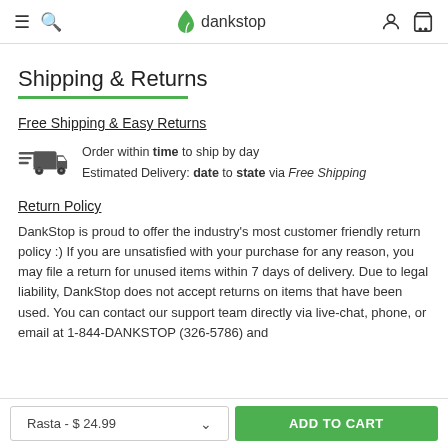dankstop
Shipping & Returns
Free Shipping & Easy Returns
Order within time to ship by day
Estimated Delivery: date to state via Free Shipping
Return Policy
DankStop is proud to offer the industry's most customer friendly return policy :) If you are unsatisfied with your purchase for any reason, you may file a return for unused items within 7 days of delivery. Due to legal liability, DankStop does not accept returns on items that have been used. You can contact our support team directly via live-chat, phone, or email at 1-844-DANKSTOP (326-5786) and
Rasta - $ 24.99
ADD TO CART